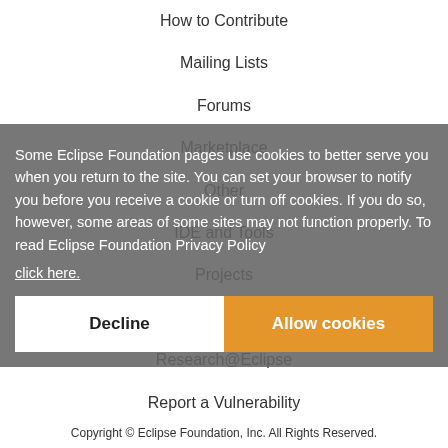How to Contribute
Mailing Lists
Forums
Marketplace
Other
IDE and Tools
Projects
Working Groups
Research@Eclipse
Report a Vulnerability
Service Status
Some Eclipse Foundation pages use cookies to better serve you when you return to the site. You can set your browser to notify you before you receive a cookie or turn off cookies. If you do so, however, some areas of some sites may not function properly. To read Eclipse Foundation Privacy Policy click here.
Copyright © Eclipse Foundation, Inc. All Rights Reserved.